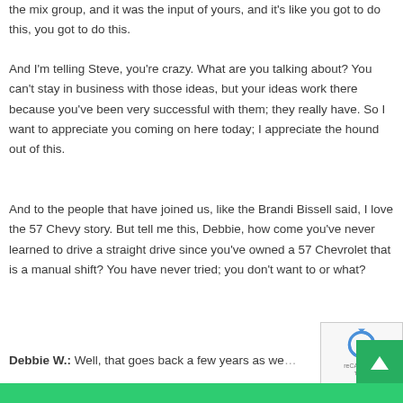the mix group, and it was the input of yours, and it's like you got to do this, you got to do this.
And I'm telling Steve, you're crazy. What are you talking about? You can't stay in business with those ideas, but your ideas work there because you've been very successful with them; they really have. So I want to appreciate you coming on here today; I appreciate the hound out of this.
And to the people that have joined us, like the Brandi Bissell said, I love the 57 Chevy story. But tell me this, Debbie, how come you've never learned to drive a straight drive since you've owned a 57 Chevrolet that is a manual shift? You have never tried; you don't want to or what?
Debbie W.: Well, that goes back a few years as we… And my dad was a car collector, and so we actually…